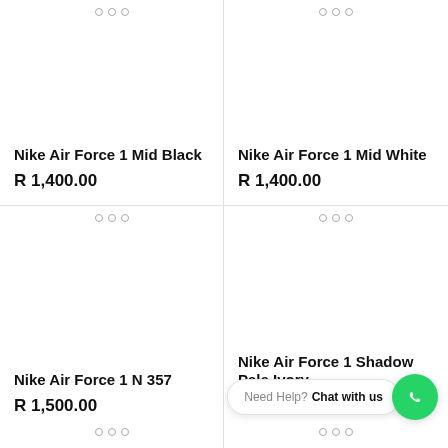Nike Air Force 1 Mid Black
R 1,400.00
Nike Air Force 1 Mid White
R 1,400.00
Nike Air Force 1 N 357
R 1,500.00
Nike Air Force 1 Shadow Pale Ivory
R 1,600.00
Need Help? Chat with us